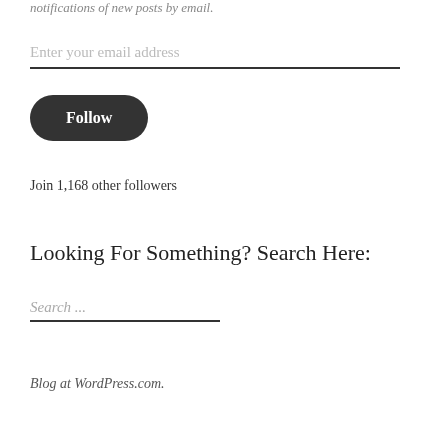notifications of new posts by email.
Enter your email address
Follow
Join 1,168 other followers
Looking For Something? Search Here:
Search ...
Blog at WordPress.com.